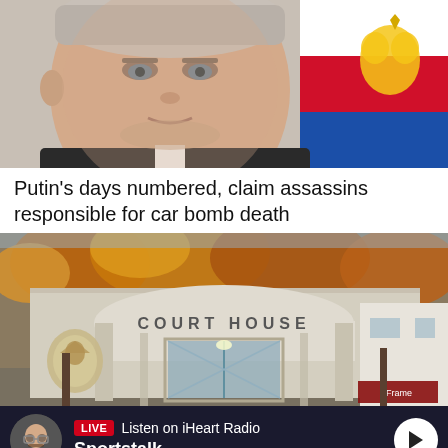[Figure (photo): Close-up photo of Vladimir Putin in a dark suit, with a Russian flag visible in the background (red, white, blue with golden eagle emblem).]
Putin's days numbered, claim assassins responsible for car bomb death
[Figure (photo): Photo of a Court House building entrance with 'COURT HOUSE' text above an arched entrance, glass doors, autumn trees, and a coat of arms on the left. A small sign on the right reads 'Frame'.]
LIVE  Listen on iHeart Radio
Sportstalk
Home  Shows  Podcasts  News  Menu